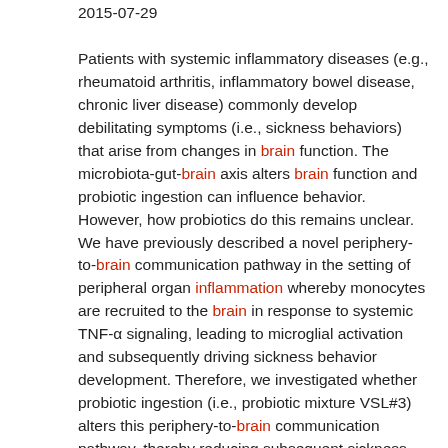2015-07-29
Patients with systemic inflammatory diseases (e.g., rheumatoid arthritis, inflammatory bowel disease, chronic liver disease) commonly develop debilitating symptoms (i.e., sickness behaviors) that arise from changes in brain function. The microbiota-gut-brain axis alters brain function and probiotic ingestion can influence behavior. However, how probiotics do this remains unclear. We have previously described a novel periphery-to-brain communication pathway in the setting of peripheral organ inflammation whereby monocytes are recruited to the brain in response to systemic TNF-α signaling, leading to microglial activation and subsequently driving sickness behavior development. Therefore, we investigated whether probiotic ingestion (i.e., probiotic mixture VSL#3) alters this periphery-to-brain communication pathway, thereby reducing subsequent sickness behavior development. Using a well characterized mouse model of liver inflammation, we now show that probiotic (VSL#3) treatment attenuates sickness behavior development in mice with liver inflammation without affecting disease severity, gut microbiota composition, or gut permeability. Attenuation of sickness behavior development was associated with reductions in microglial activation and cerebral monocyte infiltration. These